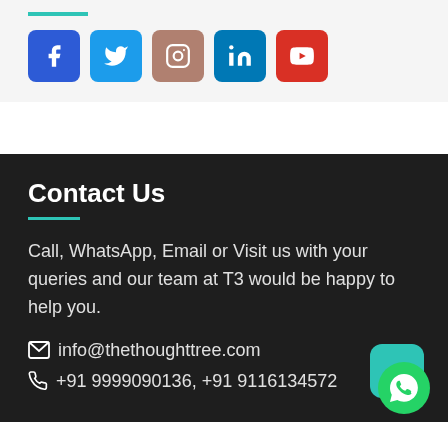[Figure (infographic): Social media icons: Facebook (blue), Twitter (light blue), Instagram (tan/brown), LinkedIn (blue), YouTube (red)]
Contact Us
Call, WhatsApp, Email or Visit us with your queries and our team at T3 would be happy to help you.
info@thethoughttree.com
+91 9999090136, +91 9116134572